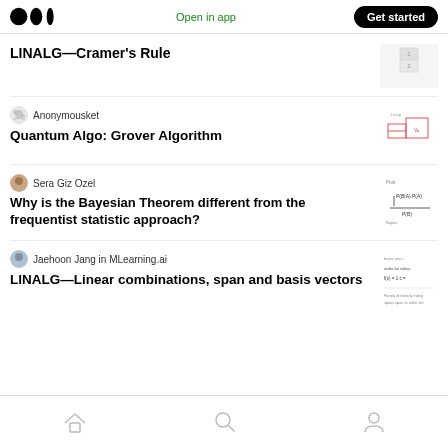Medium logo | Open in app | Get started
LINALG—Cramer's Rule
Anonymousket
Quantum Algo: Grover Algorithm
Sera Giz Ozel
Why is the Bayesian Theorem different from the frequentist statistic approach?
Jaehoon Jang in MLearning.ai
LINALG—Linear combinations, span and basis vectors
Home | Search | Profile